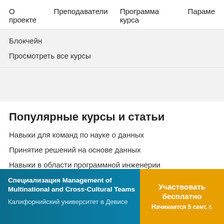О проекте   Преподаватели   Программа курса   Параме
Блокчейн
Просмотреть все курсы
Популярные курсы и статьи
Навыки для команд по науке о данных
Принятие решений на основе данных
Навыки в области программной инженерии
Специализация Management of Multinational and Cross-Cultural Teams
Калифорнийский университет в Девисе
Участвовать бесплатно
Начинается 5 сент. г.